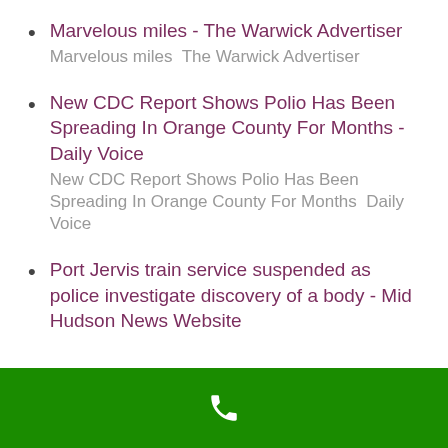Marvelous miles - The Warwick Advertiser  Marvelous miles  The Warwick Advertiser
New CDC Report Shows Polio Has Been Spreading In Orange County For Months - Daily Voice  New CDC Report Shows Polio Has Been Spreading In Orange County For Months  Daily Voice
Port Jervis train service suspended as police investigate discovery of a body - Mid Hudson News Website